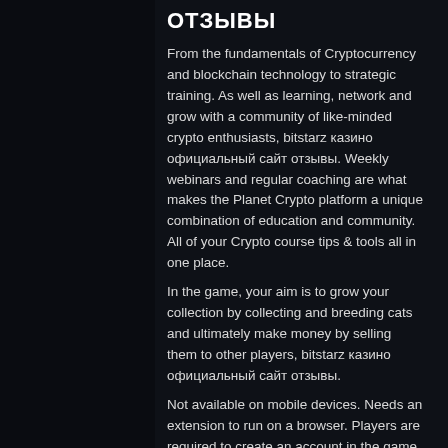ОТЗЫВЫ
From the fundamentals of Cryptocurrency and blockchain technology to strategic training. As well as learning, network and grow with a community of like-minded crypto enthusiasts, bitstarz казино официальный сайт отзывы. Weekly webinars and regular coaching are what makes the Planet Crypto platform a unique combination of education and community. All of your Crypto course tips & tools all in one place.
In the game, your aim is to grow your collection by collecting and breeding cats and ultimately make money by selling them to other players, bitstarz казино официальный сайт отзывы.
Not available on mobile devices. Needs an extension to run on a browser. Players are required to create an account in the game, a wallet & an account in a crypto exchange